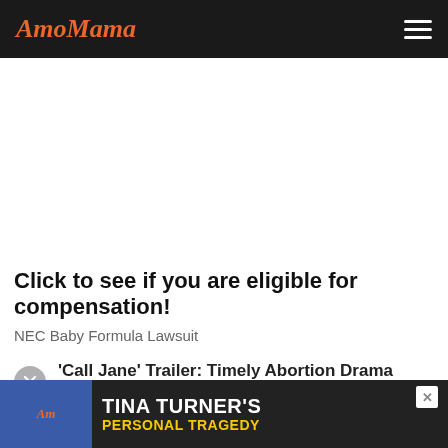AmoMama
Click to see if you are eligible for compensation!
NEC Baby Formula Lawsuit
'Call Jane' Trailer: Timely Abortion Drama Starring Elizabeth Banks, Wunmi Mosa...
Shadow and Act
TINA TURNER'S PERSONAL TRAGEDY